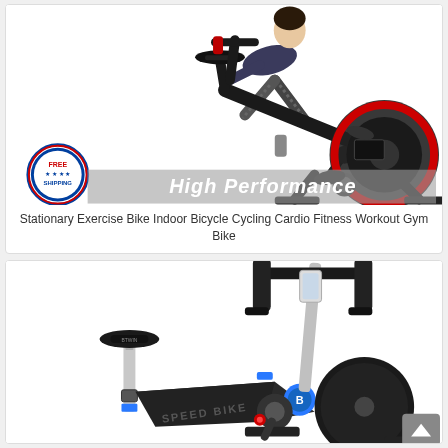[Figure (photo): Stationary exercise bike with a person riding it, black frame with red flywheel accents. A 'Free Shipping' badge is in the lower left and a 'High Performance' banner overlays the lower portion of the image.]
Stationary Exercise Bike Indoor Bicycle Cycling Cardio Fitness Workout Gym Bike
[Figure (photo): Close-up of a Speed Bike stationary exercise bike, dark grey/black frame with blue accents, showing the seat, handlebars, and flywheel area. A scroll-to-top button is visible in the lower right corner.]